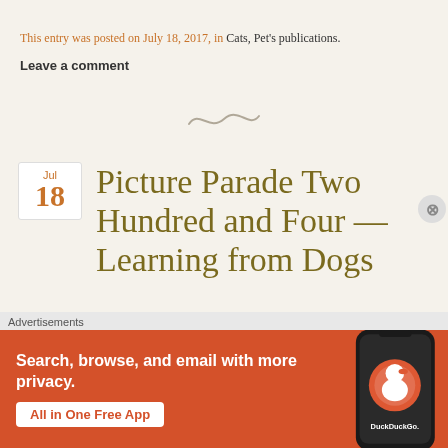This entry was posted on July 18, 2017, in Cats, Pet's publications.
Leave a comment
[Figure (illustration): Decorative swoosh/tilde divider element]
Picture Parade Two Hundred and Four — Learning from Dogs
[Figure (screenshot): DuckDuckGo advertisement banner: Search, browse, and email with more privacy. All in One Free App. Shows a smartphone with DuckDuckGo app.]